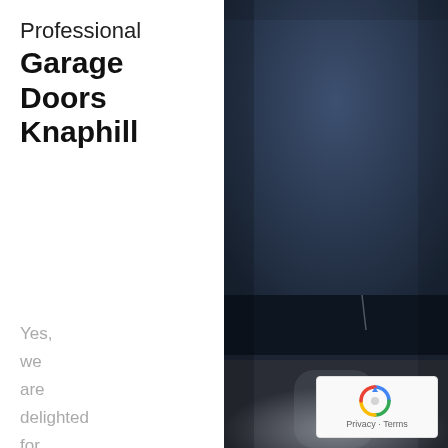Professional Garage Doors Knaphill
[Figure (photo): Dark blurry night-time exterior photo showing a dark sky and faint silhouettes of trees and a road surface, occupying the right half of the page]
Yes, we are delighted for our engineers to provide coverage
[Figure (logo): Google reCAPTCHA badge with spinning arrows logo and 'Privacy · Terms' text, overlaid on the bottom right of the photo]